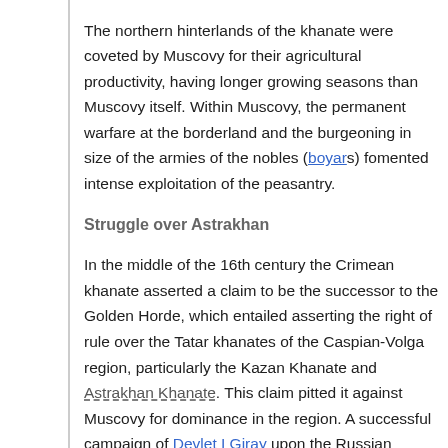The northern hinterlands of the khanate were coveted by Muscovy for their agricultural productivity, having longer growing seasons than Muscovy itself. Within Muscovy, the permanent warfare at the borderland and the burgeoning in size of the armies of the nobles (boyars) fomented intense exploitation of the peasantry.
Struggle over Astrakhan
In the middle of the 16th century the Crimean khanate asserted a claim to be the successor to the Golden Horde, which entailed asserting the right of rule over the Tatar khanates of the Caspian-Volga region, particularly the Kazan Khanate and Astrakhan Khanate. This claim pitted it against Muscovy for dominance in the region. A successful campaign of Devlet I Giray upon the Russian capital, Moscow in 1571 culminated in the burning